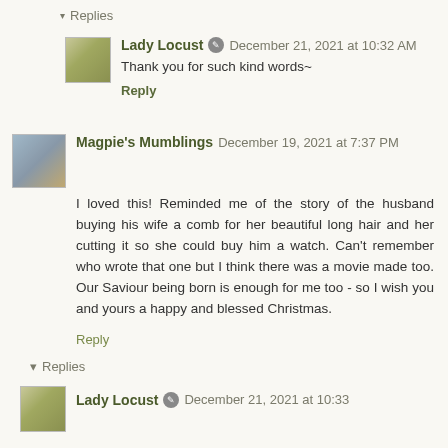▾ Replies
Lady Locust  December 21, 2021 at 10:32 AM
Thank you for such kind words~
Reply
Magpie's Mumblings  December 19, 2021 at 7:37 PM
I loved this! Reminded me of the story of the husband buying his wife a comb for her beautiful long hair and her cutting it so she could buy him a watch. Can't remember who wrote that one but I think there was a movie made too. Our Saviour being born is enough for me too - so I wish you and yours a happy and blessed Christmas.
Reply
▾ Replies
Lady Locust  December 21, 2021 at 10:33